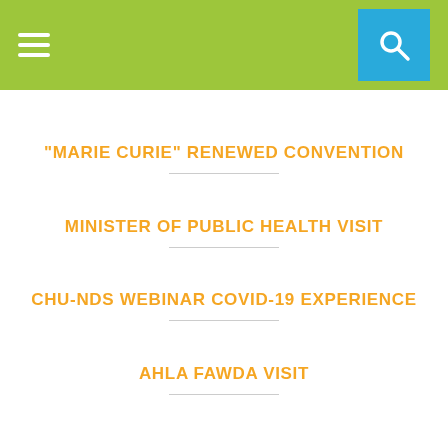[Figure (other): Website header bar with green background, hamburger menu icon on left and blue search button with magnifying glass icon on right]
"MARIE CURIE" RENEWED CONVENTION
MINISTER OF PUBLIC HEALTH VISIT
CHU-NDS WEBINAR COVID-19 EXPERIENCE
AHLA FAWDA VISIT